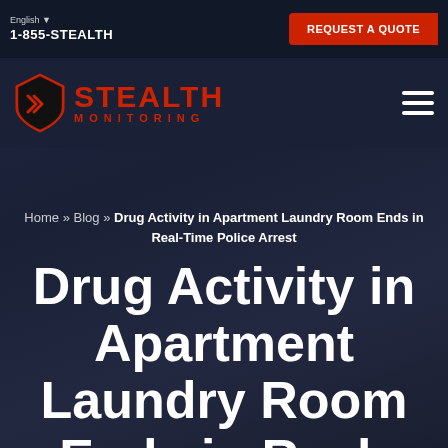English ▼  1-855-STEALTH  REQUEST A QUOTE
[Figure (logo): Stealth Monitoring logo with red shield icon and STEALTH MONITORING text in red and white]
Home » Blog » Drug Activity in Apartment Laundry Room Ends in Real-Time Police Arrest
Drug Activity in Apartment Laundry Room Ends in Real-Time Police Arrest